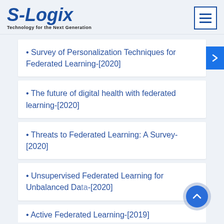[Figure (logo): S-Logix logo with tagline 'Technology for the Next Generation']
• Survey of Personalization Techniques for Federated Learning-[2020]
• The future of digital health with federated learning-[2020]
• Threats to Federated Learning: A Survey-[2020]
• Unsupervised Federated Learning for Unbalanced Data-[2020]
• Active Federated Learning-[2019]